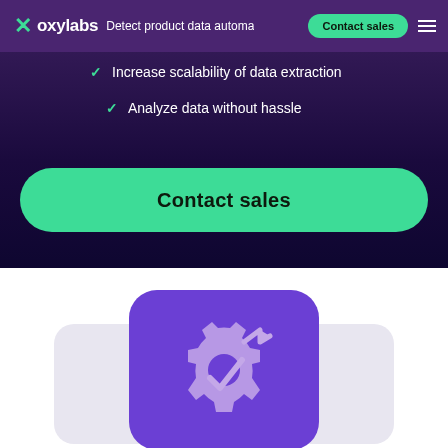oxylabs | Detect product data automa... | Contact sales
Increase scalability of data extraction
Analyze data without hassle
Contact sales
[Figure (illustration): Purple rounded square icon featuring a gear/cog with an arrow and a checkmark, set against a light purple shadow card background]